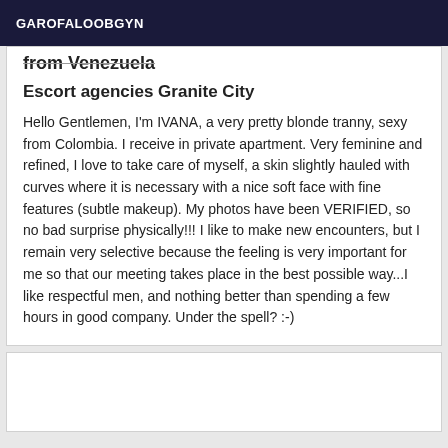GAROFALOOBGYN
from Venezuela
Escort agencies Granite City
Hello Gentlemen, I'm IVANA, a very pretty blonde tranny, sexy from Colombia. I receive in private apartment. Very feminine and refined, I love to take care of myself, a skin slightly hauled with curves where it is necessary with a nice soft face with fine features (subtle makeup). My photos have been VERIFIED, so no bad surprise physically!!! I like to make new encounters, but I remain very selective because the feeling is very important for me so that our meeting takes place in the best possible way...I like respectful men, and nothing better than spending a few hours in good company. Under the spell? :-)